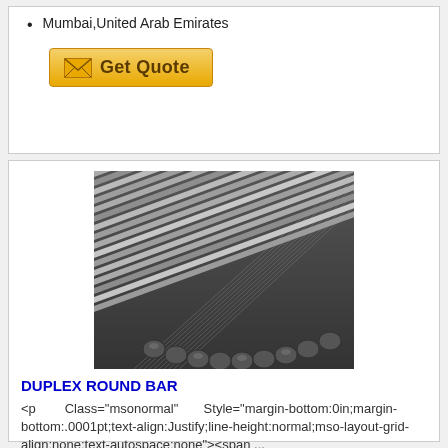Mumbai,United Arab Emirates
[Figure (other): Get Quote button with envelope icon, golden/orange gradient background]
[Figure (photo): Photo of duplex round metal bars/rods bundled together, silver/grey steel rods viewed from the end and side]
DUPLEX ROUND BAR
<p Class="msonormal" Style="margin-bottom:0in;margin-bottom:.0001pt;text-align:Justify;line-height:normal;mso-layout-grid-align:none;text-autospace:none"><span ...